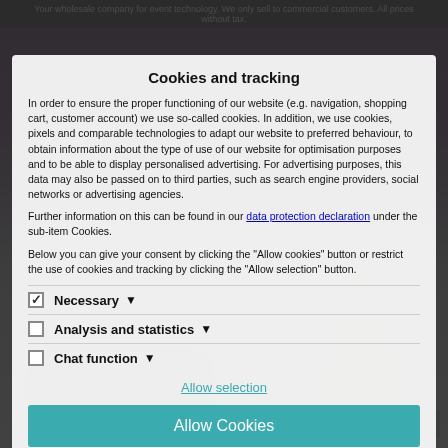Your wholesale company for event technology. We only sell to commercial customers. All prices without tax.
Cookies and tracking
In order to ensure the proper functioning of our website (e.g. navigation, shopping cart, customer account) we use so-called cookies. In addition, we use cookies, pixels and comparable technologies to adapt our website to preferred behaviour, to obtain information about the type of use of our website for optimisation purposes and to be able to display personalised advertising. For advertising purposes, this data may also be passed on to third parties, such as search engine providers, social networks or advertising agencies.
Further information on this can be found in our data protection declaration under the sub-item Cookies.
Below you can give your consent by clicking the "Allow cookies" button or restrict the use of cookies and tracking by clicking the "Allow selection" button.
Necessary ✓
Analysis and statistics
Chat function
Allow selection
Allow Cookies